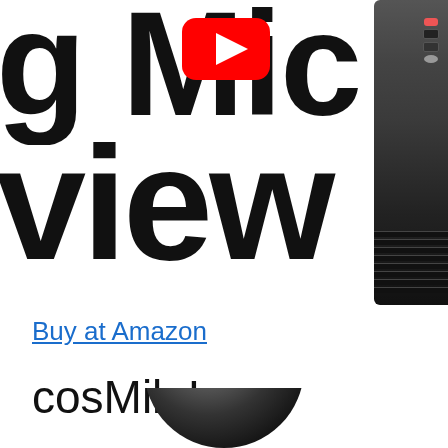[Figure (illustration): Partial text showing 'g Mic' on first line with YouTube play button logo, and 'view' on second line in large bold black font — top portion of a cropped heading. A microphone product photo is visible on the right edge.]
Buy at Amazon
cosMik Lav
[Figure (photo): Bottom portion of a round dark microphone product photo, partially cropped at the bottom of the page.]